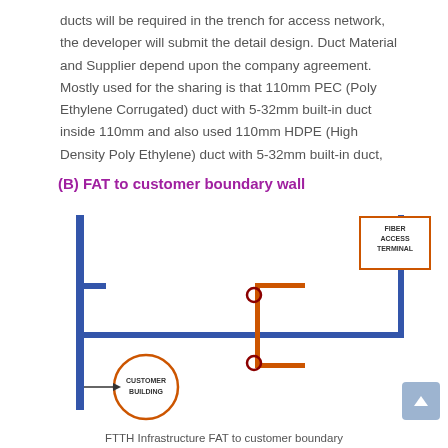ducts will be required in the trench for access network, the developer will submit the detail design. Duct Material and Supplier depend upon the company agreement. Mostly used for the sharing is that 110mm PEC (Poly Ethylene Corrugated) duct with 5-32mm built-in duct inside 110mm and also used 110mm HDPE (High Density Poly Ethylene) duct with 5-32mm built-in duct,
(B) FAT to customer boundary wall
[Figure (engineering-diagram): FTTH infrastructure diagram showing FAT (Fiber Access Terminal) to customer boundary wall. A vertical blue wall on left represents the customer building side. A horizontal blue line runs across the diagram. Orange lines connect from a central point down to two small circular connectors. On the right, a vertical blue line leads up to a box labeled FIBER ACCESS TERMINAL in orange border. An orange circle on the lower left is labeled CUSTOMER BUILDING.]
FTTH Infrastructure FAT to customer boundary